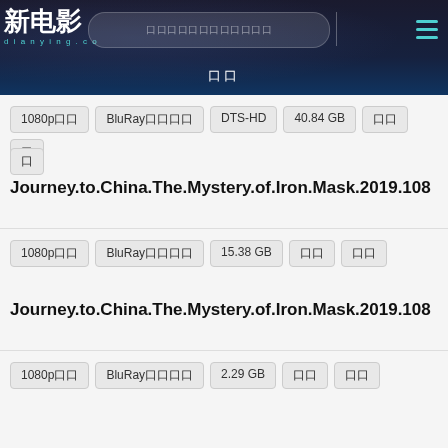新电影 dianying.co — search bar — 首页
1080p高清  BluRay蓝光原盘  DTS-HD  40.84 GB  中文  英
文
Journey.to.China.The.Mystery.of.Iron.Mask.2019.108...
1080p高清  BluRay蓝光原盘  15.38 GB  中文  中文
Journey.to.China.The.Mystery.of.Iron.Mask.2019.108...
1080p高清  BluRay蓝光原盘  2.29 GB  中文  中文